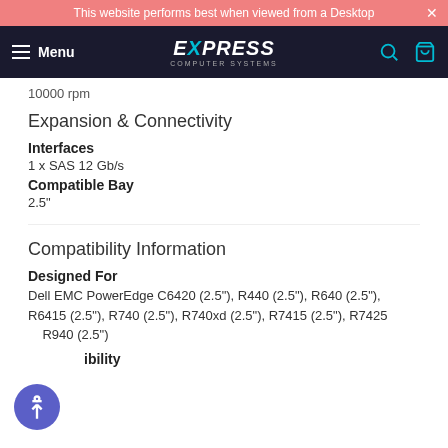This website performs best when viewed from a Desktop
[Figure (logo): Express Computer Systems logo with hamburger menu and navigation icons]
10000 rpm
Expansion & Connectivity
Interfaces
1 x SAS 12 Gb/s
Compatible Bay
2.5"
Compatibility Information
Designed For
Dell EMC PowerEdge C6420 (2.5"), R440 (2.5"), R640 (2.5"), R6415 (2.5"), R740 (2.5"), R740xd (2.5"), R7415 (2.5"), R7425 (2.5"), R940 (2.5")
ibility